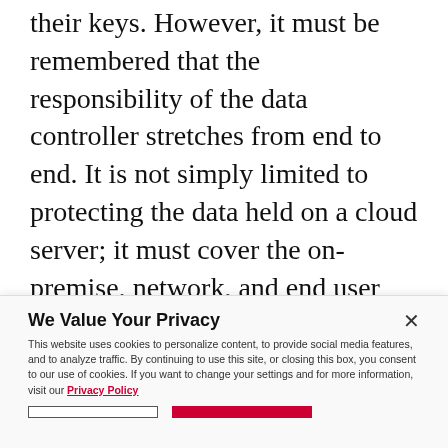their keys. However, it must be remembered that the responsibility of the data controller stretches from end to end. It is not simply limited to protecting the data held on a cloud server; it must cover the on-premise, network, and end user devices. The cloud service provider (AWS) is responsible for some but not all of this. The data controller needs to be clear
[Figure (screenshot): Cookie consent popup overlay with title 'We Value Your Privacy', body text about cookies and privacy policy, a close X button, a Privacy Policy link in red, and two buttons at the bottom (outline and red filled).]